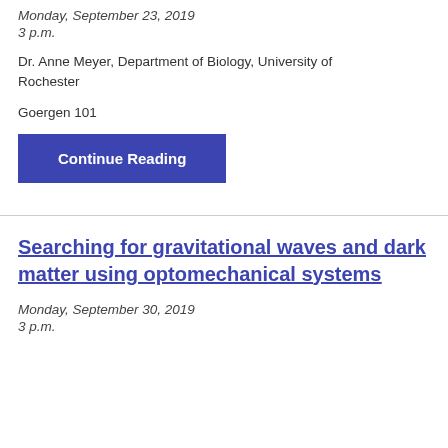Monday, September 23, 2019
3 p.m.
Dr. Anne Meyer, Department of Biology, University of Rochester
Goergen 101
Continue Reading
Searching for gravitational waves and dark matter using optomechanical systems
Monday, September 30, 2019
3 p.m.